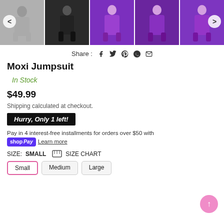[Figure (photo): Product image strip showing 5 thumbnail photos of the Moxi Jumpsuit in different colors/models, with left and right navigation arrows]
Share :  f  🐦  𝐏  ⊕  ✉
Moxi Jumpsuit
In Stock
$49.99
Shipping calculated at checkout.
Hurry, Only 1 left!
Pay in 4 interest-free installments for orders over $50 with shop Pay  Learn more
SIZE: SMALL  SIZE CHART
Small   Medium   Large